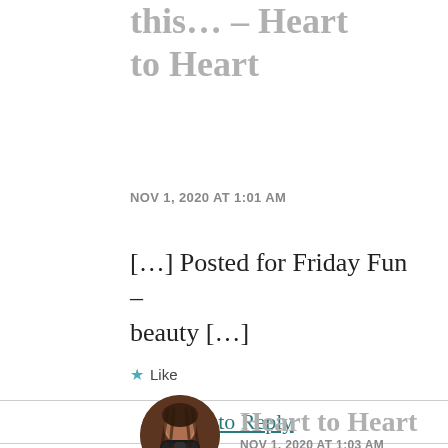this… – Heart to Heart
NOV 1, 2020 AT 1:01 AM
[…] Posted for Friday Fun – beauty […]
★ Like
Log in to Reply
[Figure (photo): Circular avatar photo of a woman]
Heart to Heart
NOV 1, 2020 AT 1:03 AM